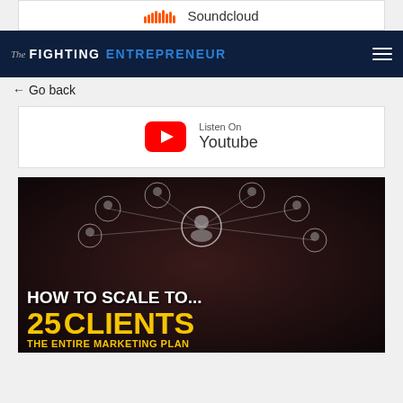[Figure (screenshot): Soundcloud listen bar with orange soundcloud icon and text 'Soundcloud']
[Figure (screenshot): The Fighting Entrepreneur navigation bar with dark navy background, logo and hamburger menu]
← Go back
[Figure (screenshot): Listen On Youtube bar with red YouTube play button icon and 'Listen On Youtube' text]
[Figure (illustration): Promotional image: 'HOW TO SCALE TO... 25 CLIENTS THE ENTIRE MARKETING PLAN' with network/people icons on dark background]